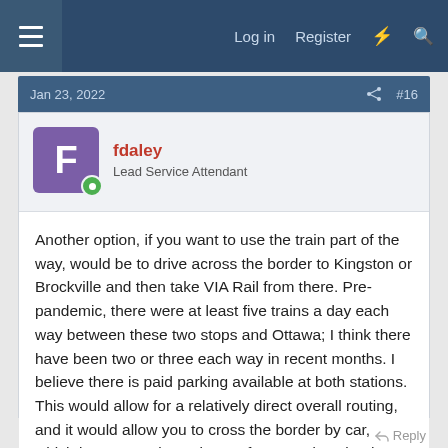Log in  Register  #  🔍
Jan 23, 2022   #16
fdaley
Lead Service Attendant
Another option, if you want to use the train part of the way, would be to drive across the border to Kingston or Brockville and then take VIA Rail from there. Pre-pandemic, there were at least five trains a day each way between these two stops and Ottawa; I think there have been two or three each way in recent months. I believe there is paid parking available at both stations. This would allow for a relatively direct overall routing, and it would allow you to cross the border by car, which is my experience is way faster and easier than crossing on Amtrak when the cross-border trains are running.